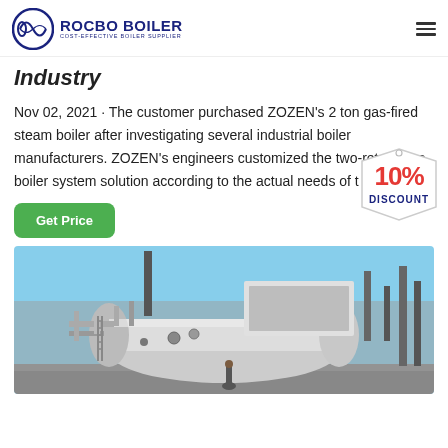ROCBO BOILER - COST-EFFECTIVE BOILER SUPPLIER
Industry
Nov 02, 2021 · The customer purchased ZOZEN's 2 ton gas-fired steam boiler after investigating several industrial boiler manufacturers. ZOZEN's engineers customized the two-return gas boiler system solution according to the actual needs of t
[Figure (infographic): 10% DISCOUNT badge/sticker overlay on article text]
[Figure (photo): Industrial gas-fired steam boiler (ZOZEN 2 ton) installed outdoors, showing cylindrical tank with pipes, valves, and industrial equipment under blue sky]